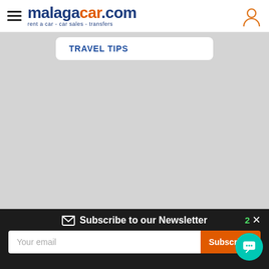malagacar.com - rent a car - car sales - transfers
TRAVEL TIPS
Subscribe to our Newsletter
Your email
Subscribe!